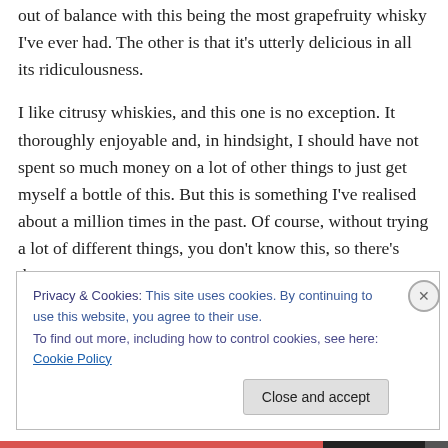out of balance with this being the most grapefruity whisky I've ever had. The other is that it's utterly delicious in all its ridiculousness.
I like citrusy whiskies, and this one is no exception. It thoroughly enjoyable and, in hindsight, I should have not spent so much money on a lot of other things to just get myself a bottle of this. But this is something I've realised about a million times in the past. Of course, without trying a lot of different things, you don't know this, so there's that.
Privacy & Cookies: This site uses cookies. By continuing to use this website, you agree to their use.
To find out more, including how to control cookies, see here: Cookie Policy